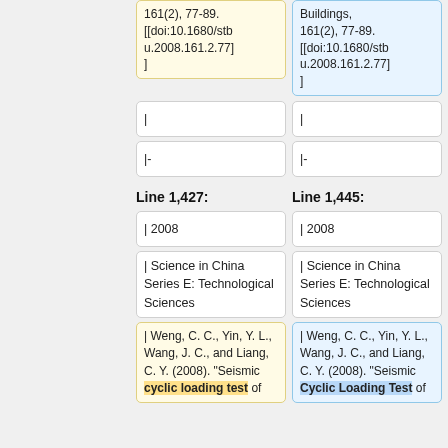161(2), 77-89. [[doi:10.1680/stbu.2008.161.2.77]]
161(2), 77-89. [[doi:10.1680/stbu.2008.161.2.77]]
|
|
|-
|-
Line 1,427:
Line 1,445:
| 2008
| 2008
| Science in China Series E: Technological Sciences
| Science in China Series E: Technological Sciences
| Weng, C. C., Yin, Y. L., Wang, J. C., and Liang, C. Y. (2008). "Seismic cyclic loading test of
| Weng, C. C., Yin, Y. L., Wang, J. C., and Liang, C. Y. (2008). "Seismic Cyclic Loading Test of